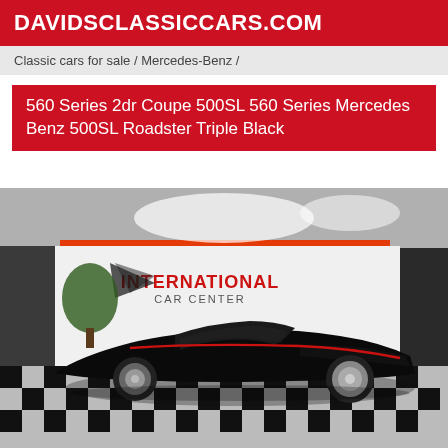DAVIDSCLASSICCARS.COM
Classic cars for sale / Mercedes-Benz /
560 Series 2dr Coupe 500SL 560 Series Mercedes Benz 500SL Roadster Triple Black
[Figure (photo): Black Mercedes-Benz 500SL roadster convertible parked inside International Car Center showroom with checkered floor and red accent lighting on ceiling]